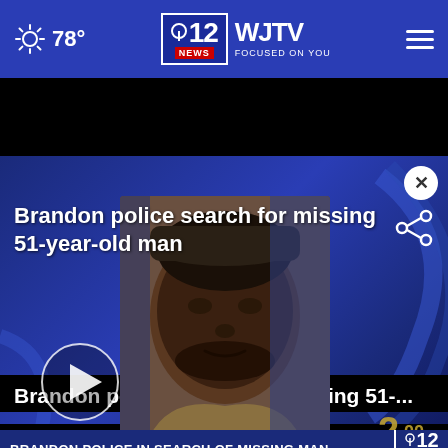78° | 12 WJTV NEWS FOCUSED ON YOU
[Figure (screenshot): News video thumbnail showing a missing 51-year-old man with chyron: BRANDON POLICE IN SEARCH OF MISSING MAN. Ticker below reads: EDURAL VOTE TO ADVANCE NEWLY RELEASED BIPARTISAN GUN SAFe HEADLINES. Bottom right shows 96° 5:03. Top overlay text: Brandon police search for missing 51-year-old man.]
Brandon police search for missing 51-...
LATEST